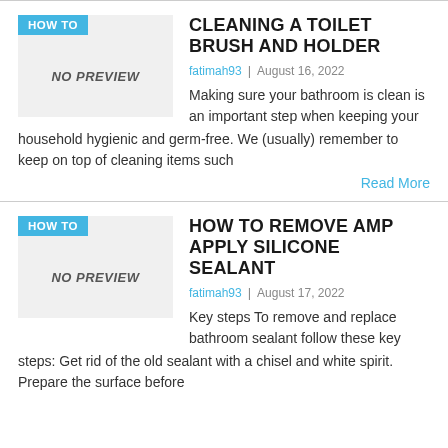CLEANING A TOILET BRUSH AND HOLDER
fatimah93 | August 16, 2022
Making sure your bathroom is clean is an important step when keeping your household hygienic and germ-free. We (usually) remember to keep on top of cleaning items such
Read More
HOW TO REMOVE AMP APPLY SILICONE SEALANT
fatimah93 | August 17, 2022
Key steps To remove and replace bathroom sealant follow these key steps: Get rid of the old sealant with a chisel and white spirit. Prepare the surface before